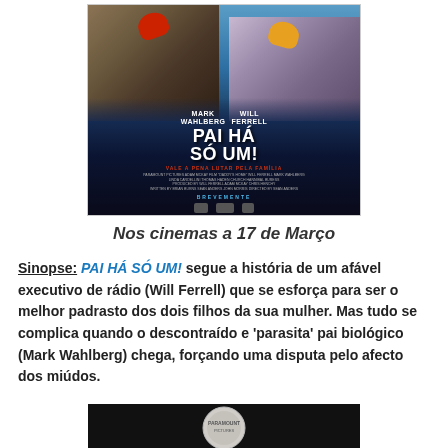[Figure (photo): Movie poster for 'Pai Há Só Um!' (Daddy's Home) featuring Mark Wahlberg and Will Ferrell boxing. Shows actors with boxing gloves, movie title in large white text, tagline 'Vale a pena lutar pela família', credits, and 'BREVEMENTE' release notice.]
Nos cinemas a 17 de Março
Sinopse: PAI HÁ SÓ UM! segue a história de um afável executivo de rádio (Will Ferrell) que se esforça para ser o melhor padrasto dos dois filhos da sua mulher. Mas tudo se complica quando o descontraído e 'parasita' pai biológico (Mark Wahlberg) chega, forçando uma disputa pelo afecto dos miúdos.
[Figure (photo): Bottom portion of a video thumbnail showing a circular logo/badge on a dark background.]